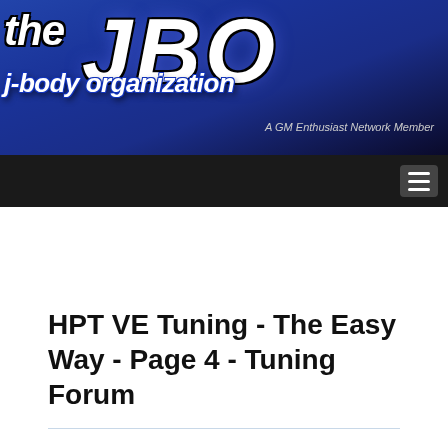[Figure (logo): The J-Body Organization logo banner with blue gradient background, large stylized JBO letters and site title text, 'A GM Enthusiast Network Member' tagline]
navigation bar with hamburger menu icon
HPT VE Tuning - The Easy Way - Page 4 - Tuning Forum
Forum Post / Reply
You must log in before you can post or reply to messages.